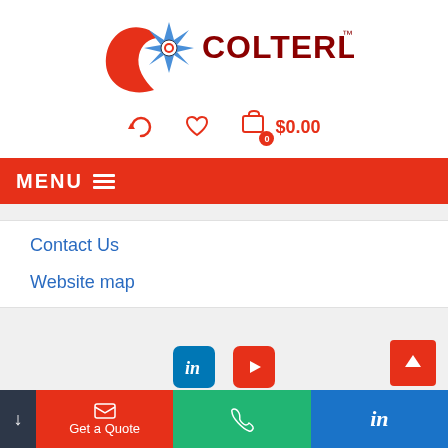[Figure (logo): COLTERLEC logo with red swoosh, compass/star graphic and gear, dark red bold text COLTERLEC with TM superscript]
0  $0.00
MENU ≡
Contact Us
Website map
[Figure (other): LinkedIn icon (blue rounded square with white 'in'), YouTube icon (red rounded square with white play triangle), and a red scroll-to-top button]
Get a Quote | phone icon | in (LinkedIn)